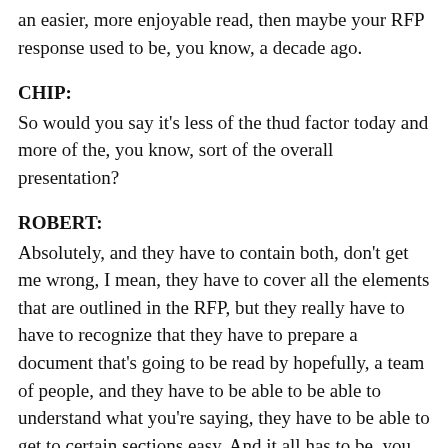an easier, more enjoyable read, then maybe your RFP response used to be, you know, a decade ago.
CHIP:
So would you say it's less of the thud factor today and more of the, you know, sort of the overall presentation?
ROBERT:
Absolutely, and they have to contain both, don't get me wrong, I mean, they have to cover all the elements that are outlined in the RFP, but they really have to have to recognize that they have to prepare a document that's going to be read by hopefully, a team of people, and they have to be able to be able to understand what you're saying, they have to be able to get to certain sections easy. And it all has to be, you know, presented in a